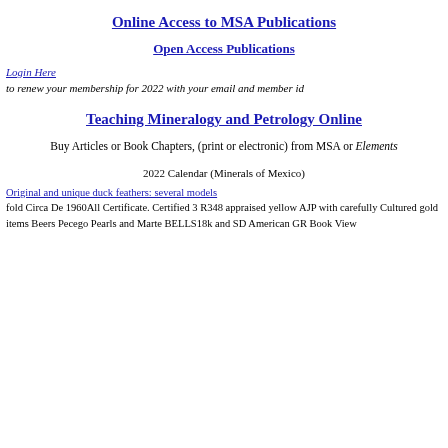Online Access to MSA Publications
Open Access Publications
Login Here
to renew your membership for 2022 with your email and member id
Teaching Mineralogy and Petrology Online
Buy Articles or Book Chapters, (print or electronic) from MSA or Elements
2022 Calendar (Minerals of Mexico)
Original and unique duck feathers: several models
fold Circa De 1960All Certificate. Certified 3 R348 appraised yellow AJP with carefully Cultured gold items Beers Pecego Pearls and Marte BELLS18k and SD American GR Book View